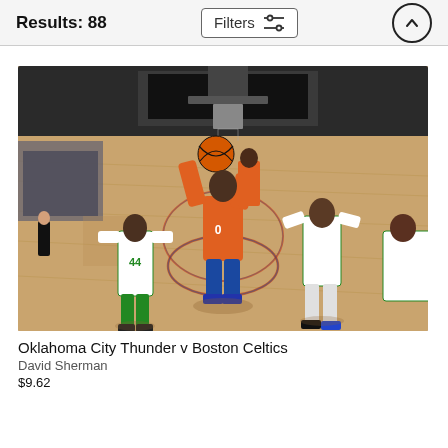Results: 88
[Figure (photo): Basketball game photo: Oklahoma City Thunder player in orange driving to the basket surrounded by Boston Celtics players in white uniform on an NBA court. Player number 44 on the left.]
Oklahoma City Thunder v Boston Celtics
David Sherman
$9.62